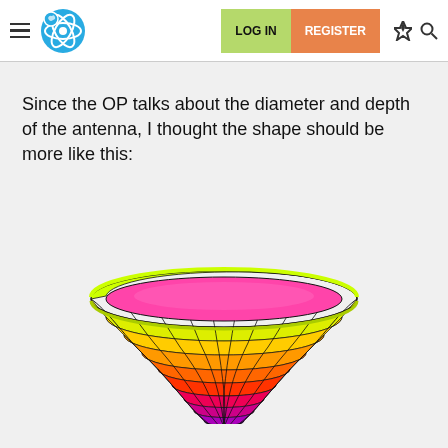Navigation bar with logo, LOG IN, REGISTER buttons, lightning and search icons
Since the OP talks about the diameter and depth of the antenna, I thought the shape should be more like this:
[Figure (illustration): A 3D wireframe bowl/paraboloid shape rendered with a rainbow color gradient from purple/blue at the bottom to yellow-green at the top rim, resembling a parabolic antenna dish viewed from slightly above.]